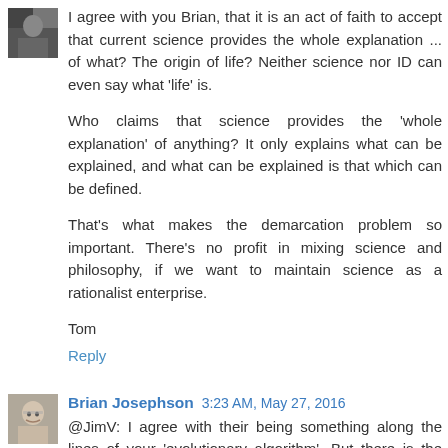[Figure (photo): Small avatar image, dark/blurry portrait photo, top left corner]
I agree with you Brian, that it is an act of faith to accept that current science provides the whole explanation ... of what? The origin of life? Neither science nor ID can even say what 'life' is.
Who claims that science provides the 'whole explanation' of anything? It only explains what can be explained, and what can be explained is that which can be defined.
That's what makes the demarcation problem so important. There's no profit in mixing science and philosophy, if we want to maintain science as a rationalist enterprise.
Tom
Reply
[Figure (photo): Small avatar image, older man with glasses, bottom left corner]
Brian Josephson 3:23 AM, May 27, 2016
@JimV: I agree with their being something along the lines of your 'evolutionary algorithm'. But there is the issue that I raised above, whether this 'Force' might be equivalent to what some experience as God, implying a kind of unificatio...